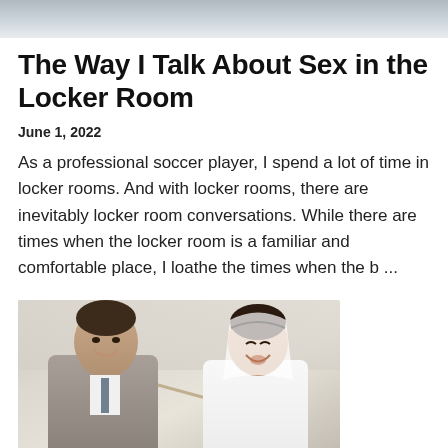[Figure (photo): Top portion of a photo, landscape/outdoor scene with muted gray-blue tones]
The Way I Talk About Sex in the Locker Room
June 1, 2022
As a professional soccer player, I spend a lot of time in locker rooms. And with locker rooms, there are inevitably locker room conversations. While there are times when the locker room is a familiar and comfortable place, I loathe the times when the b ...
[Figure (photo): A groom in a gray suit feeds cake to a smiling bride in a white dress and veil at a wedding reception]
How To...